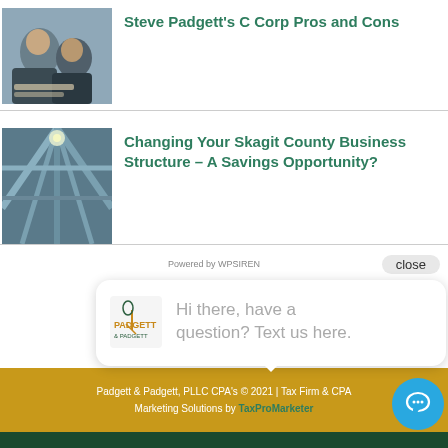[Figure (photo): Two men in business attire looking at documents on a table]
Steve Padgett's C Corp Pros and Cons
[Figure (photo): Steel structural beams forming geometric pattern viewed from below]
Changing Your Skagit County Business Structure – A Savings Opportunity?
Powered by WPSIREN
close
[Figure (logo): Padgett & Padgett CPA firm logo]
Hi there, have a question? Text us here.
Padgett & Padgett, PLLC CPA's © 2021 | Tax Firm & CPA Marketing Solutions by TaxProMarketer